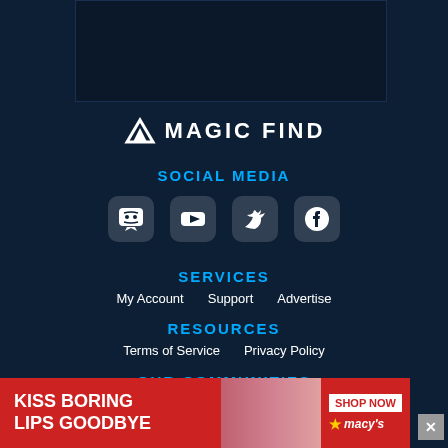[Figure (screenshot): Dark background image/video thumbnail area at the top]
[Figure (logo): Magic Find logo with stylized M icon and white uppercase wordmark text]
SOCIAL MEDIA
[Figure (infographic): Social media icons: Discord, YouTube, Twitter, Facebook]
SERVICES
My Account    Support    Advertise
RESOURCES
Terms of Service    Privacy Policy
OUR COMMUNITIES
[Figure (photo): Advertisement banner: KISS BORING LIPS GOODBYE with woman photo and Macy's SHOP NOW button]